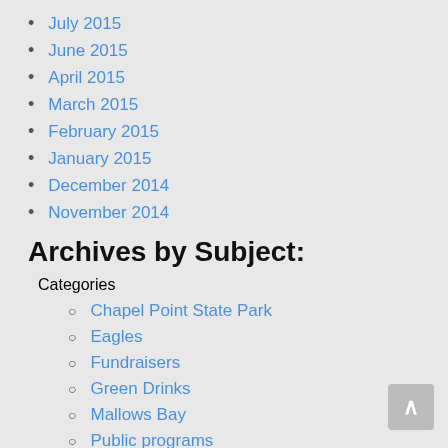July 2015
June 2015
April 2015
March 2015
February 2015
January 2015
December 2014
November 2014
Archives by Subject:
Categories
Chapel Point State Park
Eagles
Fundraisers
Green Drinks
Mallows Bay
Public programs
Restoration